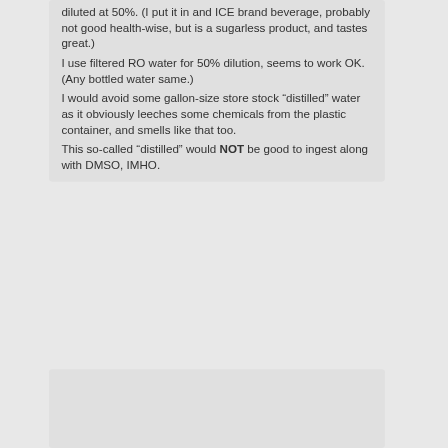diluted at 50%. (I put it in and ICE brand beverage, probably not good health-wise, but is a sugarless product, and tastes great.)
I use filtered RO water for 50% dilution, seems to work OK. (Any bottled water same.)
I would avoid some gallon-size store stock “distilled” water as it obviously leeches some chemicals from the plastic container, and smells like that too.
This so-called “distilled” would NOT be good to ingest along with DMSO, IMHO.
[Figure (logo): Partial view of a blue logo at the bottom of the page]